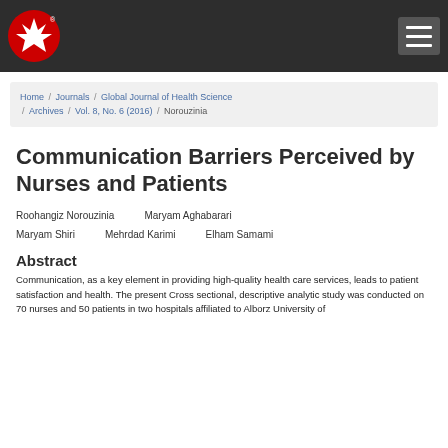Home / Journals / Global Journal of Health Science / Archives / Vol. 8, No. 6 (2016) / Norouzinia
Communication Barriers Perceived by Nurses and Patients
Roohangiz Norouzinia   Maryam Aghabarari
Maryam Shiri   Mehrdad Karimi   Elham Samami
Abstract
Communication, as a key element in providing high-quality health care services, leads to patient satisfaction and health. The present Cross sectional, descriptive analytic study was conducted on 70 nurses and 50 patients in two hospitals affiliated to Alborz University of